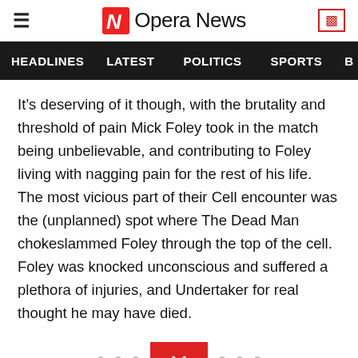Opera News
HEADLINES  LATEST  POLITICS  SPORTS
It’s deserving of it though, with the brutality and threshold of pain Mick Foley took in the match being unbelievable, and contributing to Foley living with nagging pain for the rest of his life. The most vicious part of their Cell encounter was the (unplanned) spot where The Dead Man chokeslammed Foley through the top of the cell. Foley was knocked unconscious and suffered a plethora of injuries, and Undertaker for real thought he may have died.